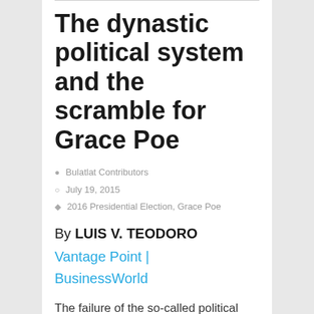The dynastic political system and the scramble for Grace Poe
Bulatlat Contributors
July 19, 2015
2016 Presidential Election, Grace Poe
By LUIS V. TEODORO
Vantage Point | BusinessWorld
The failure of the so-called political parties and coalitions